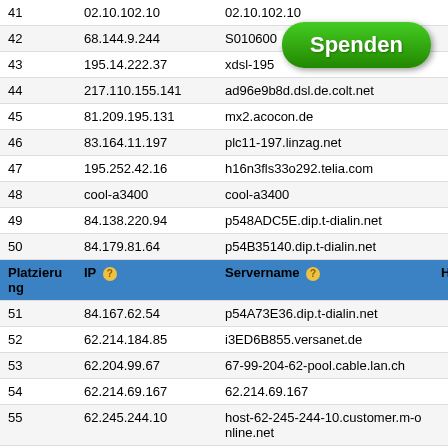| Platzierung | IP | Servername | Hi |
| --- | --- | --- | --- |
| 41 | 02.10.102.10 | 02.10.102.10 |  |
| 42 | 68.144.9.244 | S010600...a.net |  |
| 43 | 195.14.222.37 | xdsl-195... |  |
| 44 | 217.110.155.141 | ad96e9b8d.dsl.de.colt.net |  |
| 45 | 81.209.195.131 | mx2.acocon.de |  |
| 46 | 83.164.11.197 | plc11-197.linzag.net |  |
| 47 | 195.252.42.16 | h16n3fls33o292.telia.com |  |
| 48 | cool-a3400 | cool-a3400 |  |
| 49 | 84.138.220.94 | p548ADC5E.dip.t-dialin.net |  |
| 50 | 84.179.81.64 | p54B35140.dip.t-dialin.net |  |
| 51 | 84.167.62.54 | p54A73E36.dip.t-dialin.net |  |
| 52 | 62.214.184.85 | i3ED6B855.versanet.de |  |
| 53 | 62.204.99.67 | 67-99-204-62-pool.cable.lan.ch |  |
| 54 | 62.214.69.167 | 62.214.69.167 |  |
| 55 | 62.245.244.10 | host-62-245-244-10.customer.m-online.net |  |
| 56 | 65.92.176.62 | HSE-Montreal-ppp344944.sympatico.ca |  |
| 57 | 62.218.35.90 | 62.218.35.90 |  |
| 58 | 84.156.174.90 | p549CAE5A.dip0.t-ipconnect.de |  |
| 59 | 84.178.111.38 | p54B26F26.dip.t-dialin.net |  |
| 60 | 164.61.216.36 | 164.61.216.36 |  |